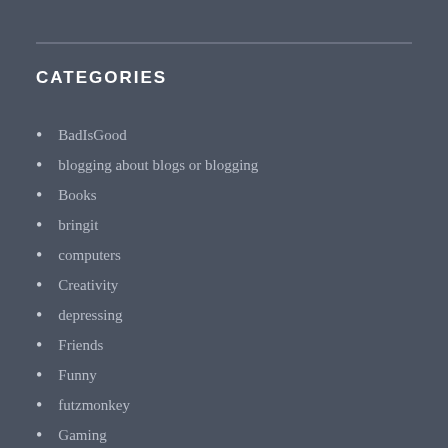CATEGORIES
BadIsGood
blogging about blogs or blogging
Books
bringit
computers
Creativity
depressing
Friends
Funny
futzmonkey
Gaming
General